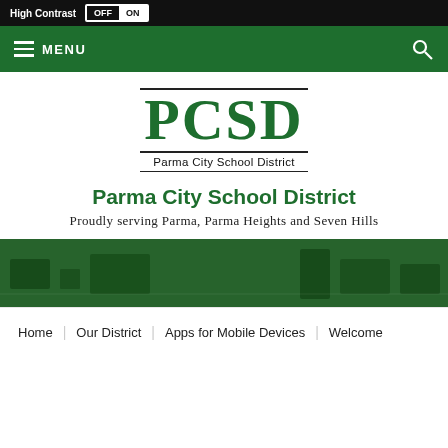High Contrast OFF ON
MENU
[Figure (logo): PCSD Parma City School District logo with green PCSD text and horizontal rules]
Parma City School District
Proudly serving Parma, Parma Heights and Seven Hills
[Figure (photo): Green-tinted classroom photo used as a decorative banner]
Home | Our District | Apps for Mobile Devices | Welcome